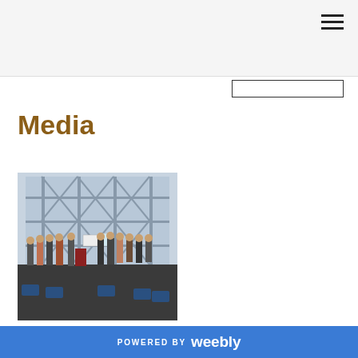Media
[Figure (photo): Group of people standing in a large atrium-style building with tall windows and crossed structural beams. They are gathered around a podium and holding signs/posters.]
POWERED BY weebly